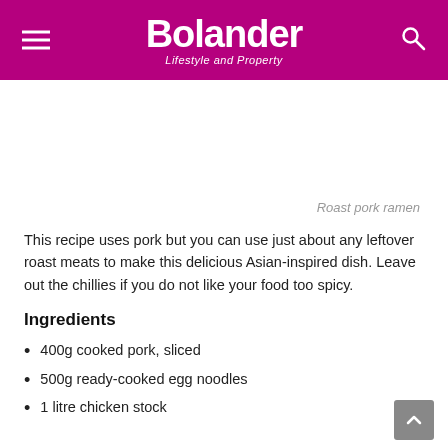Bolander — Lifestyle and Property
Roast pork ramen
This recipe uses pork but you can use just about any leftover roast meats to make this delicious Asian-inspired dish. Leave out the chillies if you do not like your food too spicy.
Ingredients
400g cooked pork, sliced
500g ready-cooked egg noodles
1 litre chicken stock